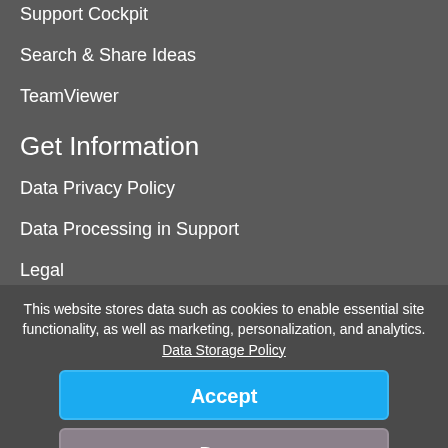Support Cockpit
Search & Share Ideas
TeamViewer
Get Information
Data Privacy Policy
Data Processing in Support
Legal
Disclaimer
Support Lifecycle Policy
This website stores data such as cookies to enable essential site functionality, as well as marketing, personalization, and analytics. Data Storage Policy
Accept
Deny